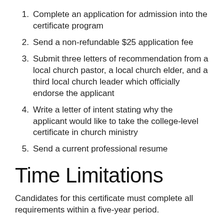1. Complete an application for admission into the certificate program
2. Send a non-refundable $25 application fee
3. Submit three letters of recommendation from a local church pastor, a local church elder, and a third local church leader which officially endorse the applicant
4. Write a letter of intent stating why the applicant would like to take the college-level certificate in church ministry
5. Send a current professional resume
Time Limitations
Candidates for this certificate must complete all requirements within a five-year period.